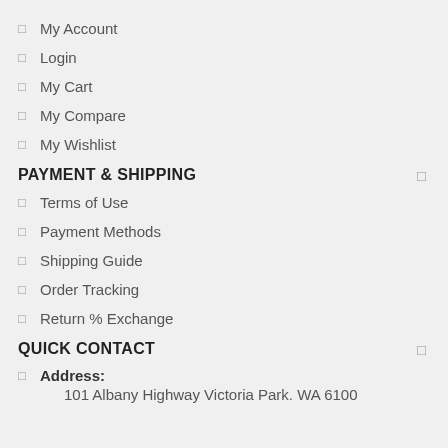My Account
Login
My Cart
My Compare
My Wishlist
PAYMENT & SHIPPING
Terms of Use
Payment Methods
Shipping Guide
Order Tracking
Return % Exchange
QUICK CONTACT
Address: 101 Albany Highway Victoria Park. WA 6100